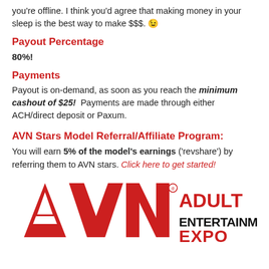you're offline. I think you'd agree that making money in your sleep is the best way to make $$$. 😉
Payout Percentage
80%!
Payments
Payout is on-demand, as soon as you reach the minimum cashout of $25!  Payments are made through either ACH/direct deposit or Paxum.
AVN Stars Model Referral/Affiliate Program:
You will earn 5% of the model's earnings ('revshare') by referring them to AVN stars. Click here to get started!
[Figure (logo): AVN Adult Entertainment Expo logo in red and black]